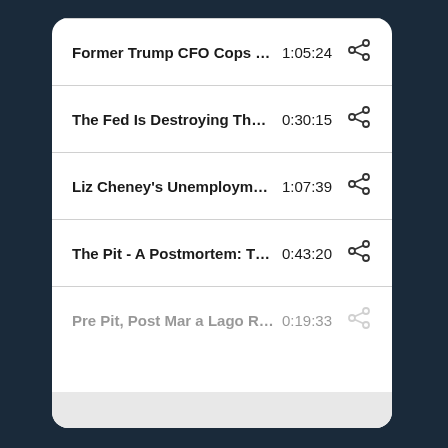Former Trump CFO Cops Ple...	1:05:24
The Fed Is Destroying The A...	0:30:15
Liz Cheney's Unemployment ...	1:07:39
The Pit - A Postmortem: Th...	0:43:20
Pre Pit, Post Mar a Lago Rai...	0:19:33